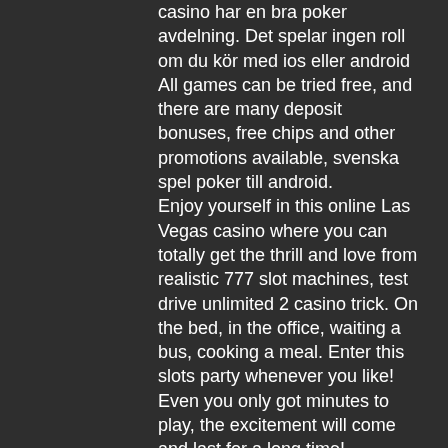casino har en bra poker avdelning. Det spelar ingen roll om du kör med ios eller android
All games can be tried free, and there are many deposit bonuses, free chips and other promotions available, svenska spel poker till android.
Enjoy yourself in this online Las Vegas casino where you can totally get the thrill and love from realistic 777 slot machines, test drive unlimited 2 casino trick. On the bed, in the office, waiting a bus, cooking a meal. Enter this slots party whenever you like! Even you only got minutes to play, the excitement will come and last for a long time! Hundreds of themes of 777 classic slots machines and video slots machines are waiting for you to feel the jackpot mania and hit the Grand to take the Tournament!
Hej! får ogiltig fil när jag ska installera pokerklienten för android på min xperia 1. Vad kan vara fel? Svenska spel sport &amp;